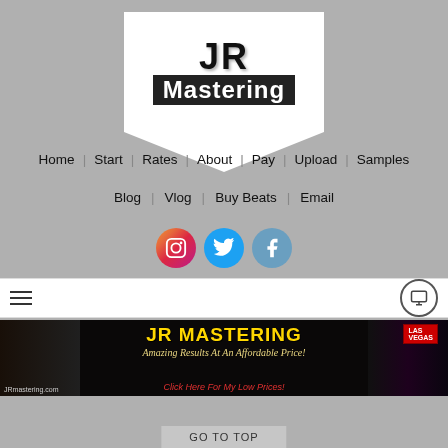[Figure (logo): JR Mastering logo: white badge shape with black text 'JR' and 'Mastering' on dark background, with chevron/ribbon bottom]
Home | Start | Rates | About | Pay | Upload | Samples
Blog | Vlog | Buy Beats | Email
[Figure (other): Social media icons: Instagram (gradient circle), Twitter (blue circle), Facebook (blue circle)]
[Figure (other): Toolbar with hamburger menu icon on left and monitor/display icon on right]
[Figure (other): JR Mastering banner ad: dark background with yellow 'JR MASTERING' text, tagline 'Amazing Results At An Affordable Price!', Las Vegas sign image, fireworks, URL JRmastering.com, red 'Click Here For My Low Prices!' text]
GO TO TOP